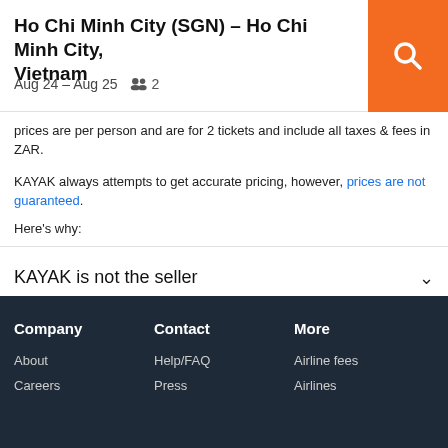Ho Chi Minh City (SGN) - Ho Chi Minh City, Vietnam | Aug 24 - Aug 25 | 2 passengers
prices are per person and are for 2 tickets and include all taxes & fees in ZAR.
KAYAK always attempts to get accurate pricing, however, prices are not guaranteed.
Here's why:
KAYAK is not the seller
We aggregate tonnes of data for you
Why aren't prices 100% accurate?
Company: About, Careers | Contact: Help/FAQ, Press | More: Airline fees, Airlines